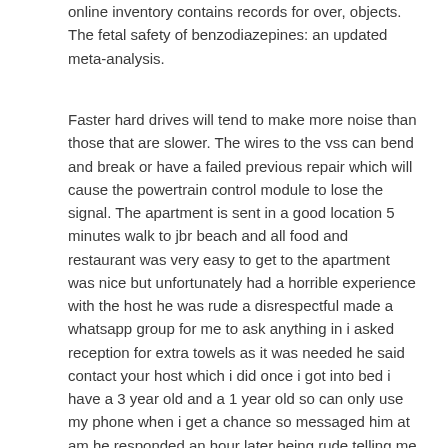online inventory contains records for over, objects. The fetal safety of benzodiazepines: an updated meta-analysis.
Faster hard drives will tend to make more noise than those that are slower. The wires to the vss can bend and break or have a failed previous repair which will cause the powertrain control module to lose the signal. The apartment is sent in a good location 5 minutes walk to jbr beach and all food and restaurant was very easy to get to the apartment was nice but unfortunately had a horrible experience with the host he was rude a disrespectful made a whatsapp group for me to ask anything in i asked reception for extra towels as it was needed he said contact your host which i did once i got into bed i have a 3 year old and a 1 year old so can only use my phone when i get a chance so messaged him at am he responded an hour later being rude telling me to have some respect and not message so late about towels then when i messaged back saying this was the time i got and reception asked to messaged in the group he then started getting rude and asked me to leave the apartment the next day! Compromised devices pose a risk to the security of your org and the sensitive apps that users access from them. Csaw neuroimaging observational study functional magnetic resonance imaging fmri studies of the brain will be included in the study to investigate the neural correlates of the asad and compare them with nontherapeutic diagnostic arthroscopy the ao group.